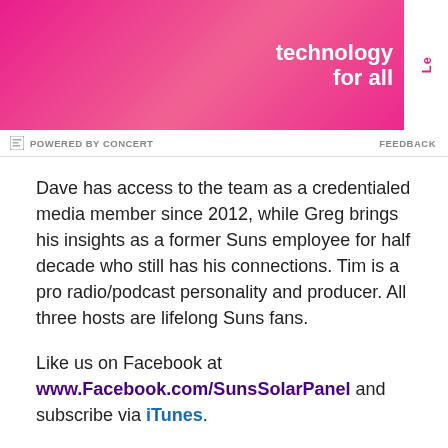[Figure (photo): Advertisement banner with pink/magenta background showing a person holding a laptop, with text 'technology for all' and a white Lenovo logo box on the right side.]
POWERED BY CONCERT    FEEDBACK
Dave has access to the team as a credentialed media member since 2012, while Greg brings his insights as a former Suns employee for half decade who still has his connections. Tim is a pro radio/podcast personality and producer. All three hosts are lifelong Suns fans.
Like us on Facebook at www.Facebook.com/SunsSolarPanel and subscribe via iTunes.
And leave us a review on the podcast feed and/or on Facebook. We read the good ones as well as the bad ones on the air!